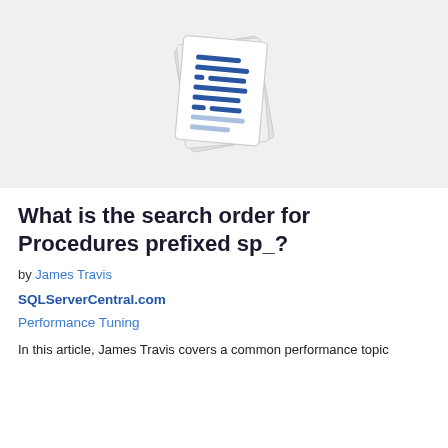[Figure (illustration): A tilted stack of document/paper pages icon with blue text lines, on a light gray background]
What is the search order for Procedures prefixed sp_?
by James Travis
SQLServerCentral.com
Performance Tuning
In this article, James Travis covers a common performance topic